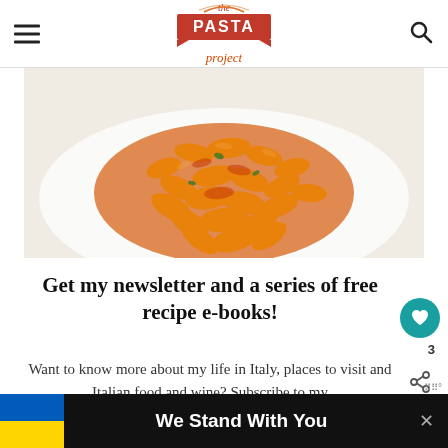the PASTA project
[Figure (photo): Close-up photo of cavatelli pasta with tomato and meat sauce on a white plate]
Get my newsletter and a series of free recipe e-books!
Want to know more about my life in Italy, places to visit and Italian food and wine? Subscribe to my
We Stand With You